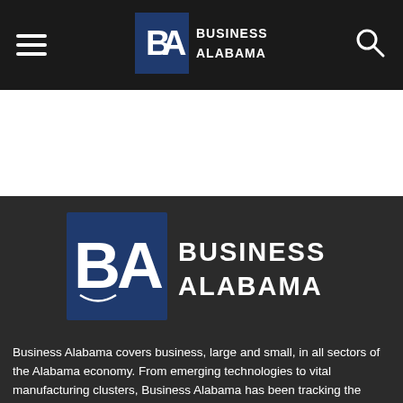[Figure (logo): Business Alabama logo in top navigation bar - BA monogram with text BUSINESS ALABAMA]
[Figure (logo): Large Business Alabama logo centered in dark section - BA monogram with BUSINESS ALABAMA text]
Business Alabama covers business, large and small, in all sectors of the Alabama economy. From emerging technologies to vital manufacturing clusters, Business Alabama has been tracking the growth of the